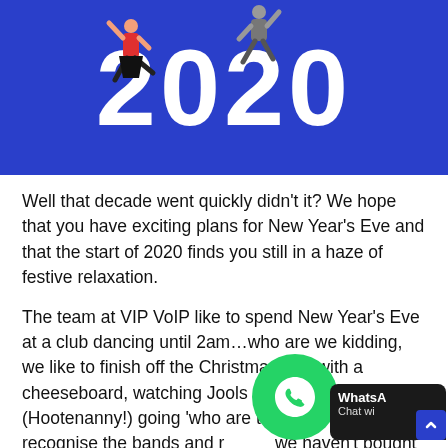[Figure (illustration): Blue banner with large white '2020' text and illustrated dancing figures on top of the numbers]
Well that decade went quickly didn't it? We hope that you have exciting plans for New Year's Eve and that the start of 2020 finds you still in a haze of festive relaxation.
The team at VIP VoIP like to spend New Year's Eve at a club dancing until 2am…who are we kidding, we like to finish off the Christmas port with a cheeseboard, watching Jools Holland's Hootenanny (Hootenanny!) going 'who are they?' as we don't recognise the bands and realise we haven't bought any new music since 2007.
The start of a new year is often a time for reflection and looking back on what happened the year before, 2019